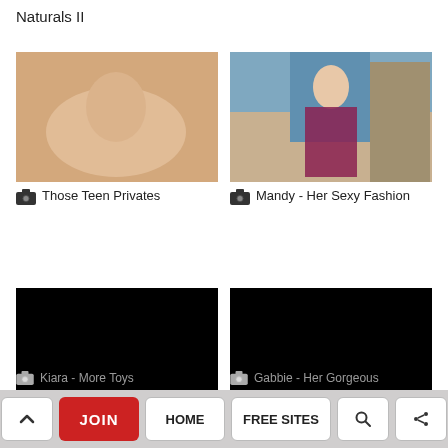Naturals II
[Figure (photo): Thumbnail photo - blonde woman posed on bed]
Those Teen Privates
[Figure (photo): Thumbnail photo - young woman in floral dress by fountain]
Mandy - Her Sexy Fashion
[Figure (photo): Black thumbnail - content hidden]
Kiara - More Toys
[Figure (photo): Black thumbnail - content hidden]
Gabbie - Her Gorgeous
JOIN  HOME  FREE SITES